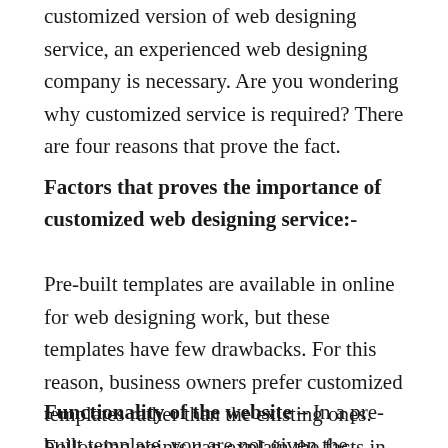customized version of web designing service, an experienced web designing company is necessary. Are you wondering why customized service is required? There are four reasons that prove the fact.
Factors that proves the importance of customized web designing service:-
Pre-built templates are available in online for web designing work, but these templates have few drawbacks. For this reason, business owners prefer customized templates rather than the existing ones. Following points can explain the facts in detail:-
Functionality of the website – In a pre-built template, you are not given the freedom to use your creativity.